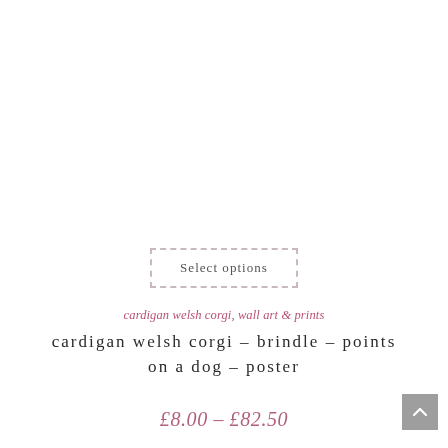[Figure (other): Select options button with dashed border]
cardigan welsh corgi, wall art & prints
cardigan welsh corgi – brindle – points on a dog – poster
£8.00 – £82.50